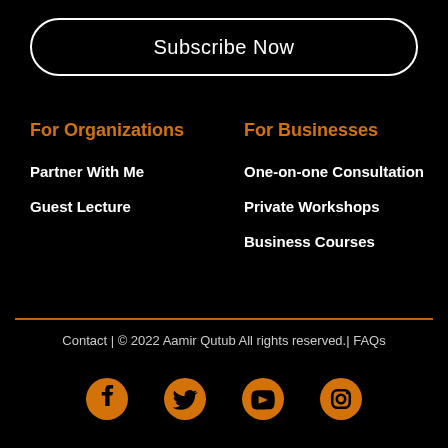Subscribe Now
For Organizations
For Businesses
Partner With Me
Guest Lecture
One-on-one Consultation
Private Workshops
Business Courses
Contact | © 2022 Aamir Qutub All rights reserved.| FAQs
[Figure (illustration): Social media icons: Facebook, Twitter, YouTube, Instagram in orange]